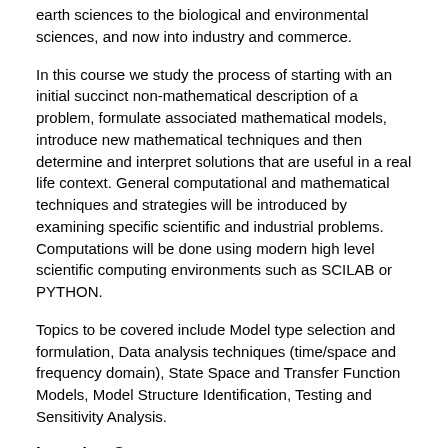earth sciences to the biological and environmental sciences, and now into industry and commerce.
In this course we study the process of starting with an initial succinct non-mathematical description of a problem, formulate associated mathematical models, introduce new mathematical techniques and then determine and interpret solutions that are useful in a real life context. General computational and mathematical techniques and strategies will be introduced by examining specific scientific and industrial problems. Computations will be done using modern high level scientific computing environments such as SCILAB or PYTHON.
Topics to be covered include Model type selection and formulation, Data analysis techniques (time/space and frequency domain), State Space and Transfer Function Models, Model Structure Identification, Testing and Sensitivity Analysis.
Learning Outcomes
Upon successful completion, students will have the